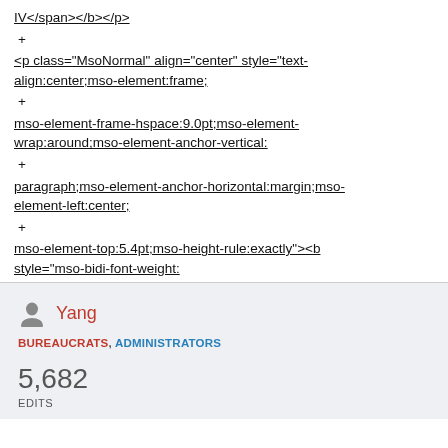IV</span></b></p>
+
<p class="MsoNormal" align="center" style="text-align:center;mso-element:frame;
+
mso-element-frame-hspace:9.0pt;mso-element-wrap:around;mso-element-anchor-vertical:
+
paragraph;mso-element-anchor-horizontal:margin;mso-element-left:center;
+
mso-element-top:5.4pt;mso-height-rule:exactly"><b style="mso-bidi-font-weight:
Yang
BUREAUCRATS, ADMINISTRATORS
5,682
EDITS